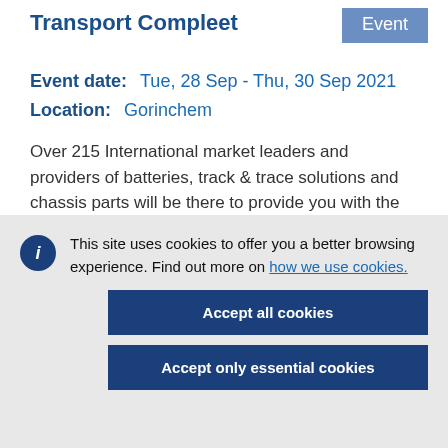Transport Compleet
Event
Event date:   Tue, 28 Sep - Thu, 30 Sep 2021
Location:   Gorinchem
Over 215 International market leaders and providers of batteries, track & trace solutions and chassis parts will be there to provide you with the
This site uses cookies to offer you a better browsing experience. Find out more on how we use cookies.
Accept all cookies
Accept only essential cookies